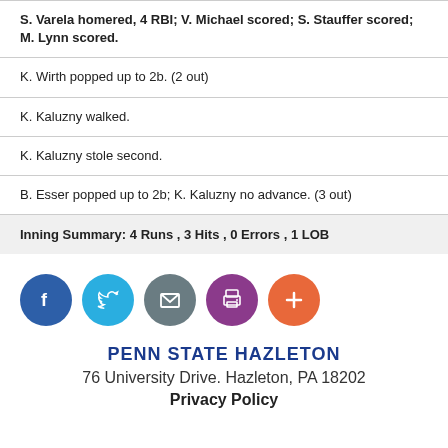S. Varela homered, 4 RBI; V. Michael scored; S. Stauffer scored; M. Lynn scored.
K. Wirth popped up to 2b. (2 out)
K. Kaluzny walked.
K. Kaluzny stole second.
B. Esser popped up to 2b; K. Kaluzny no advance. (3 out)
Inning Summary: 4 Runs , 3 Hits , 0 Errors , 1 LOB
[Figure (infographic): Row of five social media / share icon buttons: Facebook (blue), Twitter (light blue), Email (grey), Print (purple), Add/Plus (orange)]
PENN STATE HAZLETON
76 University Drive. Hazleton, PA 18202
Privacy Policy